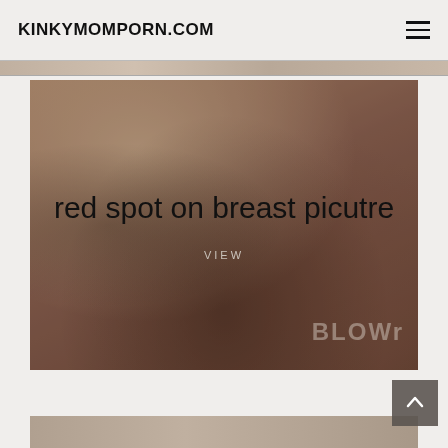KINKYMOMPORN.COM
[Figure (photo): Adult content website screenshot showing a blurred background photo with overlaid text reading 'red spot on breast picutre' and a 'VIEW' link, with a watermark 'BLOW' visible in the lower right of the image.]
red spot on breast picutre
VIEW